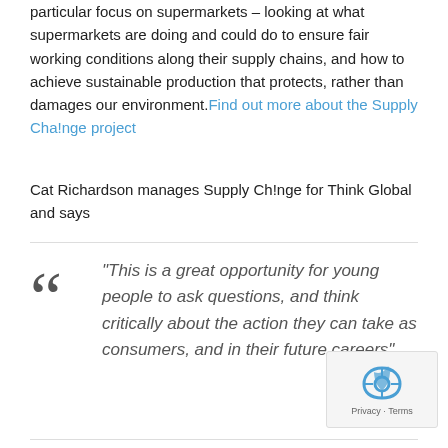particular focus on supermarkets – looking at what supermarkets are doing and could do to ensure fair working conditions along their supply chains, and how to achieve sustainable production that protects, rather than damages our environment. Find out more about the Supply Cha!nge project
Cat Richardson manages Supply Ch!nge for Think Global and says
“This is a great opportunity for young people to ask questions, and think critically about the action they can take as consumers, and in their future careers”